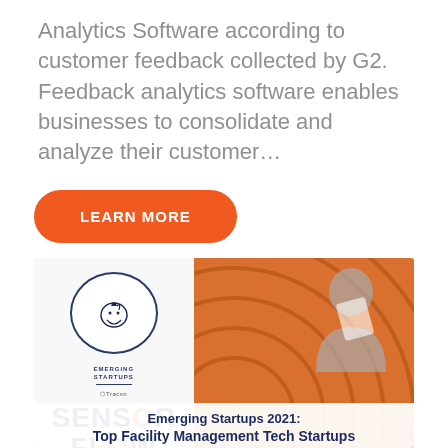Analytics Software according to customer feedback collected by G2. Feedback analytics software enables businesses to consolidate and analyze their customer...
[Figure (other): Orange button labeled LEARN MORE with rounded pill shape]
[Figure (infographic): Sensorflow brand image showing Emerging Startups 2021 badge from Tracxn with circular logo, SENSORFLOW logo text, orange spiral graphic design background, and partial text reading 'Emerging Startups 2021: Top Facility Management Tech Startups']